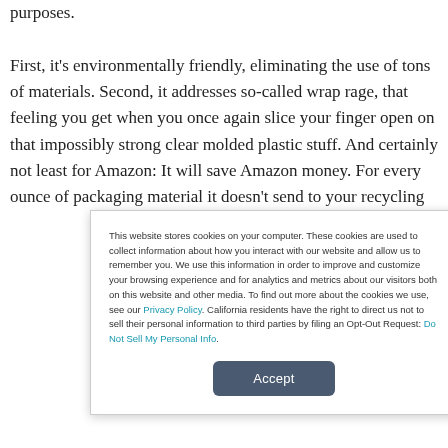purposes.

First, it's environmentally friendly, eliminating the use of tons of materials. Second, it addresses so-called wrap rage, that feeling you get when you once again slice your finger open on that impossibly strong clear molded plastic stuff. And certainly not least for Amazon: It will save Amazon money. For every ounce of packaging material it doesn't send to your recycling...
This website stores cookies on your computer. These cookies are used to collect information about how you interact with our website and allow us to remember you. We use this information in order to improve and customize your browsing experience and for analytics and metrics about our visitors both on this website and other media. To find out more about the cookies we use, see our Privacy Policy. California residents have the right to direct us not to sell their personal information to third parties by filing an Opt-Out Request: Do Not Sell My Personal Info.